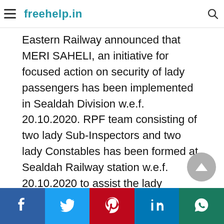freehelp.in
Eastern Railway announced that MERI SAHELI, an initiative for focused action on security of lady passengers has been implemented in Sealdah Division w.e.f. 20.10.2020. RPF team consisting of two lady Sub-Inspectors and two lady Constables has been formed at Sealdah Railway station w.e.f. 20.10.2020 to assist the lady passengers travelling alone.
Social share bar: Facebook, Twitter, Pinterest, LinkedIn, WhatsApp